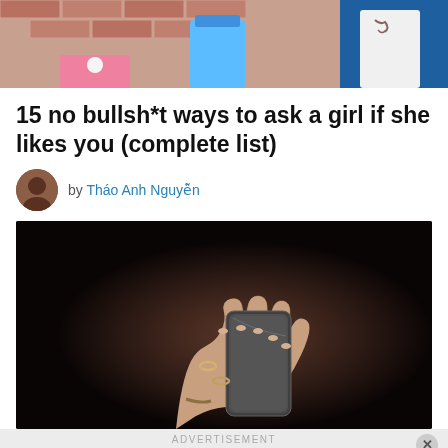[Figure (photo): Top banner photo showing people standing near a brick wall, partially cropped]
15 no bullsh*t ways to ask a girl if she likes you (complete list)
by Tháo Anh Nguyễn
[Figure (photo): Close-up photo of a woman's hands holding a smartphone against a dark background]
ADVERTISEMENT
The long weekend is here
Kate Spade Outlet
15 def